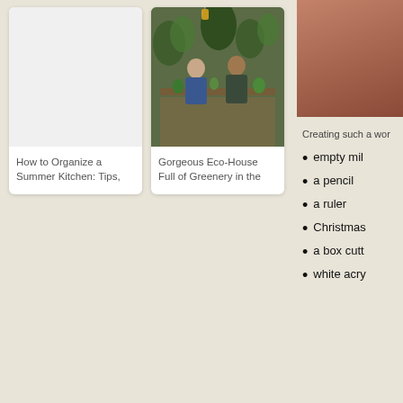[Figure (photo): Article card with white background and empty image placeholder area, with text 'How to Organize a Summer Kitchen: Tips,']
How to Organize a Summer Kitchen: Tips,
[Figure (photo): Article card showing people in a plant-filled garden shop/greenhouse]
Gorgeous Eco-House Full of Greenery in the
[Figure (photo): Partial photo on right showing brown/terracotta colored surface]
Creating such a wor
empty mil
a pencil
a ruler
Christmas
a box cutt
white acry